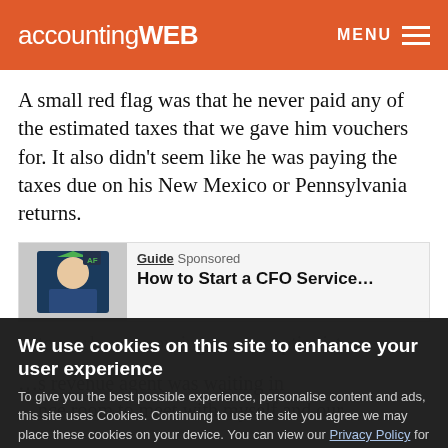accountingWEB  MENU
A small red flag was that he never paid any of the estimated taxes that we gave him vouchers for. It also didn't seem like he was paying the taxes due on his New Mexico or Pennsylvania returns.
[Figure (photo): Sponsored guide image with man in suit]
Guide  Sponsored
How to Start a CFO Service…
We use cookies on this site to enhance your user experience
To give you the best possible experience, personalise content and ads, this site uses Cookies. Continuing to use the site you agree we may place these cookies on your device. You can view our Privacy Policy for more details.
No, give me more info
OK, I agree